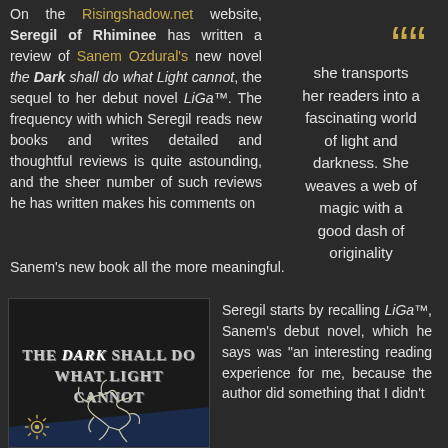On the Risingshadow.net website, Seregil of Rhiminee has written a review of Sanem Ozdural's new novel the Dark shall do what Light cannot, the sequel to her debut novel LiGa™. The frequency with which Seregil reads new books and writes detailed and thoughtful reviews is quite astounding, and the sheer number of such reviews he has written makes his comments on Sanem's new book all the more meaningful.
she transports her readers into a fascinating world of light and darkness. She weaves a web of magic with a good dash of originality
[Figure (illustration): Book cover for 'The Dark Shall Do What Light Cannot' showing stylized title text and a raven/bird illustration, dark background]
Seregil starts by recalling LiGa™, Sanem's debut novel, which he says was "an interesting reading experience for me, because the author did something that I didn't